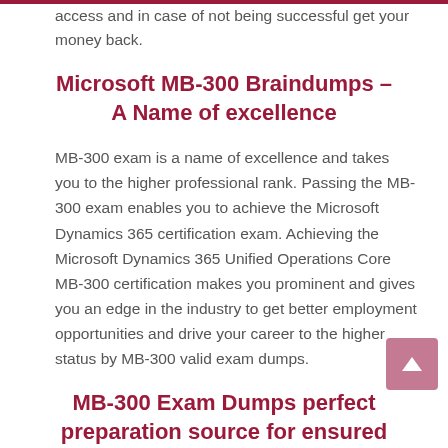access and in case of not being successful get your money back.
Microsoft MB-300 Braindumps – A Name of excellence
MB-300 exam is a name of excellence and takes you to the higher professional rank. Passing the MB-300 exam enables you to achieve the Microsoft Dynamics 365 certification exam. Achieving the Microsoft Dynamics 365 Unified Operations Core MB-300 certification makes you prominent and gives you an edge in the industry to get better employment opportunities and drive your career to the higher status by MB-300 valid exam dumps.
MB-300 Exam Dumps perfect preparation source for ensured